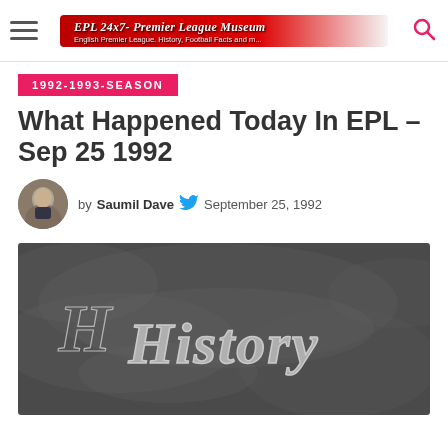EPL 24x7 - Premier League Museum | English Premier League, History, Football Facts and more
1992-1993-SEASON
What Happened Today In EPL – Sep 25 1992
by Saumil Dave  September 25, 1992
[Figure (photo): Chalkboard with the word 'History' written in chalk cursive script]